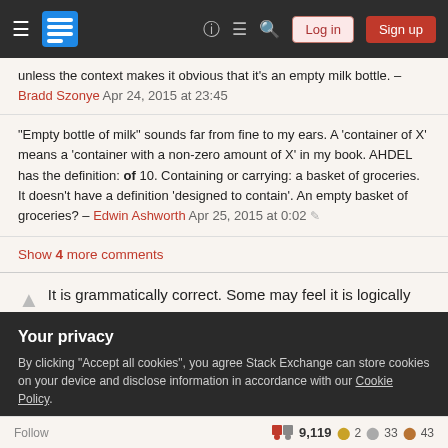Stack Exchange navigation bar with hamburger menu, logo, help, chat, search icons, Log in and Sign up buttons
unless the context makes it obvious that it’s an empty milk bottle. – Bradd Szonye Apr 24, 2015 at 23:45
"Empty bottle of milk" sounds far from fine to my ears. A ‘container of X’ means a ‘container with a non-zero amount of X’ in my book. AHDEL has the definition: of 10. Containing or carrying: a basket of groceries. It doesn’t have a definition ‘designed to contain’. An empty basket of groceries? – Edwin Ashworth Apr 25, 2015 at 0:02
Show 4 more comments
It is grammatically correct. Some may feel it is logically
Your privacy
By clicking “Accept all cookies”, you agree Stack Exchange can store cookies on your device and disclose information in accordance with our Cookie Policy.
Accept all cookies
Customize settings
Follow   9,119  2  33  43